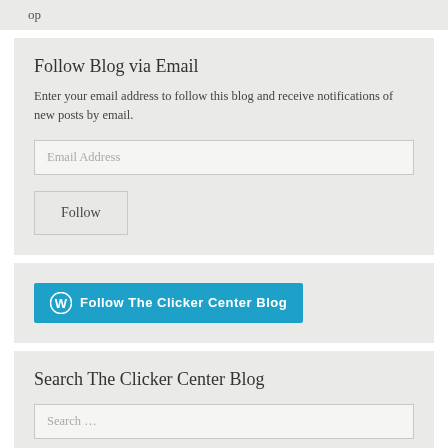op
Follow Blog via Email
Enter your email address to follow this blog and receive notifications of new posts by email.
Email Address
Follow
[Figure (other): WordPress Follow The Clicker Center Blog button]
Search The Clicker Center Blog
Search …